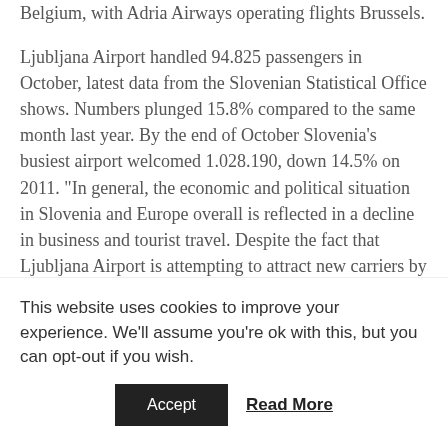Belgium, with Adria Airways operating flights Brussels.
Ljubljana Airport handled 94.825 passengers in October, latest data from the Slovenian Statistical Office shows. Numbers plunged 15.8% compared to the same month last year. By the end of October Slovenia's busiest airport welcomed 1.028.190, down 14.5% on 2011. “In general, the economic and political situation in Slovenia and Europe overall is reflected in a decline in business and tourist travel. Despite the fact that Ljubljana Airport is attempting to attract new carriers by adapting its pricing policy, through attractive offers of its services and by increasing activities aimed at attracting new
This website uses cookies to improve your experience. We'll assume you're ok with this, but you can opt-out if you wish.
Accept
Read More